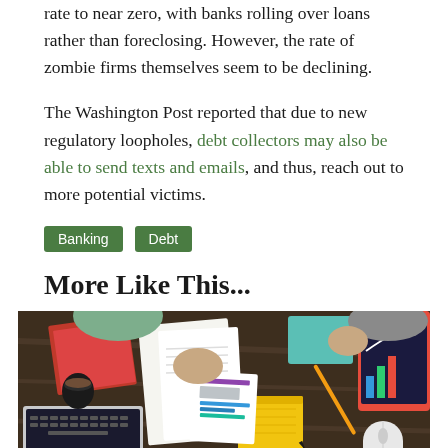rate to near zero, with banks rolling over loans rather than foreclosing. However, the rate of zombie firms themselves seem to be declining.
The Washington Post reported that due to new regulatory loopholes, debt collectors may also be able to send texts and emails, and thus, reach out to more potential victims.
Banking
Debt
More Like This...
[Figure (photo): Overhead view of office desk with people working, laptops, papers, charts, and office supplies on a dark wooden table]